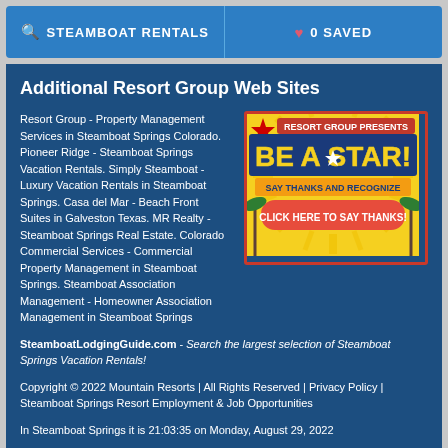STEAMBOAT RENTALS    0 SAVED
Additional Resort Group Web Sites
Resort Group - Property Management Services in Steamboat Springs Colorado. Pioneer Ridge - Steamboat Springs Vacation Rentals. Simply Steamboat - Luxury Vacation Rentals in Steamboat Springs. Casa del Mar - Beach Front Suites in Galveston Texas. MR Realty - Steamboat Springs Real Estate. Colorado Commercial Services - Commercial Property Management in Steamboat Springs. Steamboat Association Management - Homeowner Association Management in Steamboat Springs
[Figure (illustration): Resort Group Presents BE A STAR! Say Thanks and Recognize - Click Here to Say Thanks! promotional banner with yellow sunburst background and red button]
SteamboatLodgingGuide.com - Search the largest selection of Steamboat Springs Vacation Rentals!
Copyright © 2022 Mountain Resorts | All Rights Reserved | Privacy Policy | Steamboat Springs Resort Employment & Job Opportunities
In Steamboat Springs it is 21:03:35 on Monday, August 29, 2022